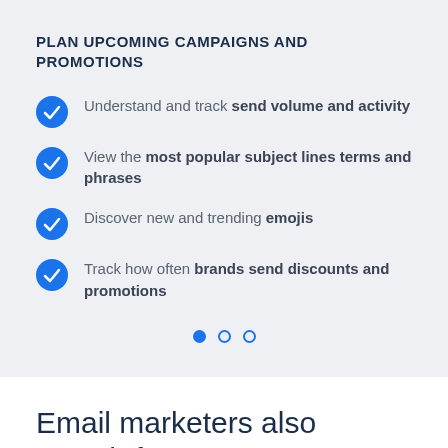PLAN UPCOMING CAMPAIGNS AND PROMOTIONS
Understand and track send volume and activity
View the most popular subject lines terms and phrases
Discover new and trending emojis
Track how often brands send discounts and promotions
Email marketers also search for: